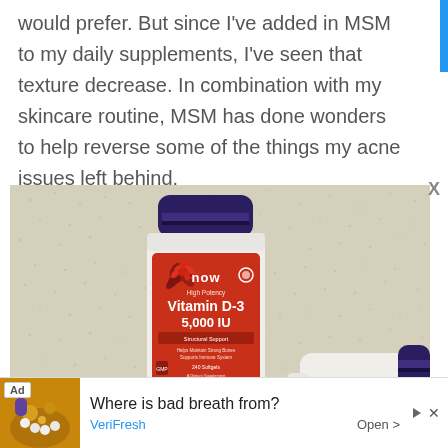would prefer. But since I've added in MSM to my daily supplements, I've seen that texture decrease. In combination with my skincare routine, MSM has done wonders to help reverse some of the things my acne issues left behind.
[Figure (photo): Photo of supplement bottles including NOW brand High Potency Vitamin D-3 5,000 IU on a textured beige background]
Ad  Where is bad breath from?  VeriFresh  Open >